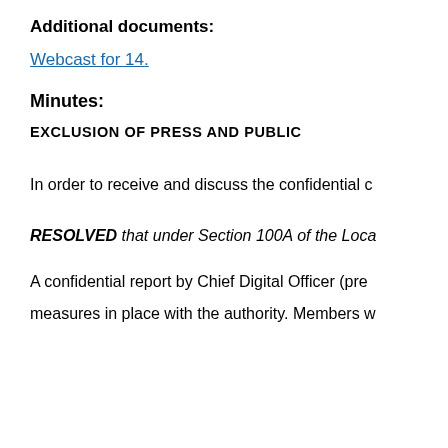Additional documents:
Webcast for 14.
Minutes:
EXCLUSION OF PRESS AND PUBLIC
In order to receive and discuss the confidential c
RESOLVED that under Section 100A of the Loca
A confidential report by Chief Digital Officer (pre
measures in place with the authority. Members w